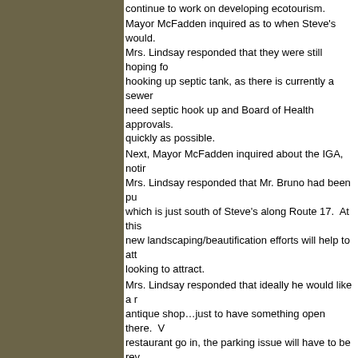continue to work on developing ecotourism.
Mayor McFadden inquired as to when Steve's would. Mrs. Lindsay responded that they were still hoping for hooking up septic tank, as there is currently a sewer need septic hook up and Board of Health approvals. quickly as possible.
Next, Mayor McFadden inquired about the IGA, noting Mrs. Lindsay responded that Mr. Bruno had been pu which is just south of Steve's along Route 17. At this new landscaping/beautification efforts will help to att looking to attract.
Mrs. Lindsay responded that ideally he would like a antique shop…just to have something open there. restaurant go in, the parking issue will have to be rev
Public Comments:
Lili Neuhauser thanked Mrs. Lindsay for her efforts w thing was a complete mess and that it was shocking
Old Business:
Data Logger- The Board has been discussing possi water loss in the Village. The loss of potable water is 51% of the water is lost on an annual basis. John Le previously discussed (to include 12 censors) would m move the censors around. Rather, he is recommende would allow them to take a look at the entire system